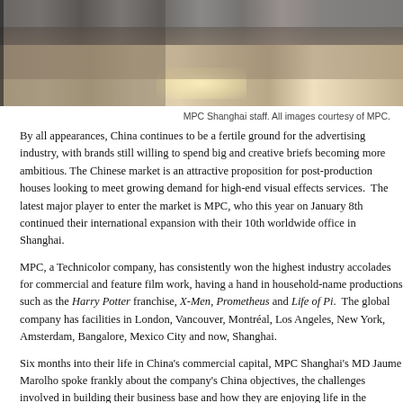[Figure (photo): Photo of MPC Shanghai staff seated/standing in a studio or office space, showing legs and feet area with a spotlight on the floor]
MPC Shanghai staff. All images courtesy of MPC.
By all appearances, China continues to be a fertile ground for the advertising industry, with brands still willing to spend big and creative briefs becoming more ambitious. The Chinese market is an attractive proposition for post-production houses looking to meet growing demand for high-end visual effects services. The latest major player to enter the market is MPC, who this year on January 8th continued their international expansion with their 10th worldwide office in Shanghai.
MPC, a Technicolor company, has consistently won the highest industry accolades for commercial and feature film work, having a hand in household-name productions such as the Harry Potter franchise, X-Men, Prometheus and Life of Pi. The global company has facilities in London, Vancouver, Montréal, Los Angeles, New York, Amsterdam, Bangalore, Mexico City and now, Shanghai.
Six months into their life in China's commercial capital, MPC Shanghai's MD Jaume Marolho spoke frankly about the company's China objectives, the challenges involved in building their business base and how they are enjoying life in the Chinese megacity.
The new Shanghai studio will be solely focused on producing commercials. While Beijing is home of moviemaking in China, Shanghai is the commercial heart, w